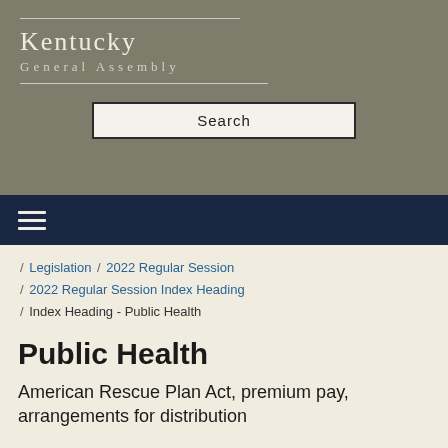Kentucky General Assembly
Search
/ Legislation / 2022 Regular Session / 2022 Regular Session Index Heading / Index Heading - Public Health
Public Health
American Rescue Plan Act, premium pay, arrangements for distribution